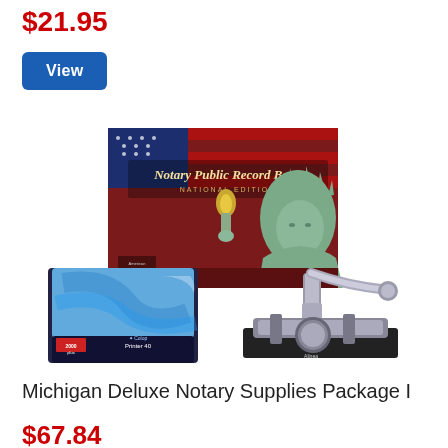$21.95
View
[Figure (photo): Product photo showing a Michigan Deluxe Notary Supplies Package including a Notary Public Record Book (National Edition) with Statue of Liberty imagery, a blue self-inking rubber stamp, and a silver embossing seal/notary press on a black base.]
Michigan Deluxe Notary Supplies Package I
$67.84